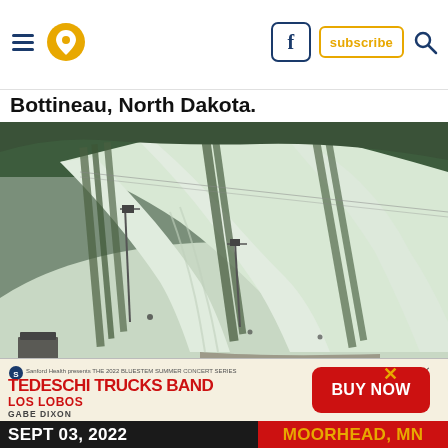Navigation header with hamburger menu, location pin, Facebook icon, subscribe button, and search icon
Bottineau, North Dakota.
[Figure (photo): Aerial view of a snowy ski hill with groomed runs, trees between runs, and ski lift infrastructure visible. Location: Bottineau, North Dakota.]
[Figure (infographic): Advertisement banner for Tedeschi Trucks Band and Los Lobos at Bluestem Summer Concert Series. Sept 03, 2022, Moorhead, MN. Buy Now button.]